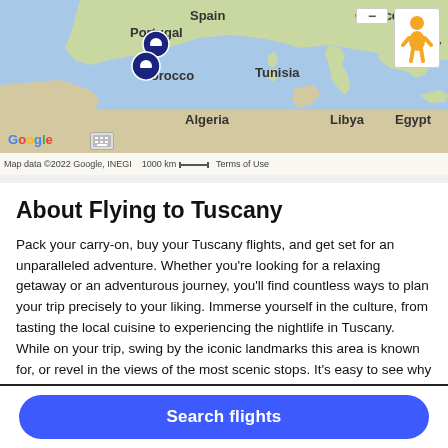[Figure (map): Google Maps showing Mediterranean region with location pins on Morocco/Portugal area. Countries labeled include Spain, Portugal, Greece, Tunisia, Algeria, Libya, Egypt, Syria. Google logo and map attribution visible.]
About Flying to Tuscany
Pack your carry-on, buy your Tuscany flights, and get set for an unparalleled adventure. Whether you're looking for a relaxing getaway or an adventurous journey, you'll find countless ways to plan your trip precisely to your liking. Immerse yourself in the culture, from tasting the local cuisine to experiencing the nightlife in Tuscany. While on your trip, swing by the iconic landmarks this area is known for, or revel in the views of the most scenic stops. It's easy to see why adrenaline junkies, amatuer historians, and wanderlusters alike are drawn to this inviting
Search flights